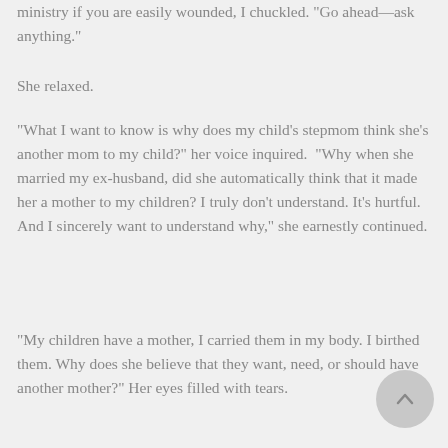ministry if you are easily wounded, I chuckled. "Go ahead—ask anything."
She relaxed.
“What I want to know is why does my child's stepmom think she's another mom to my child?" her voice inquired.  "Why when she married my ex-husband, did she automatically think that it made her a mother to my children? I truly don't understand. It's hurtful. And I sincerely want to understand why," she earnestly continued.
“My children have a mother, I carried them in my body. I birthed them. Why does she believe that they want, need, or should have another mother?" Her eyes filled with tears.